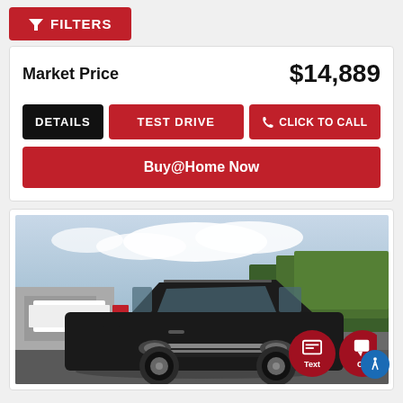FILTERS
Market Price   $14,889
DETAILS
TEST DRIVE
CLICK TO CALL
Buy@Home Now
[Figure (photo): Black Kia Sorento SUV parked in a lot with green trees and cloudy sky in background. Two circular red action buttons visible at bottom right: Text and Chat (partially visible).]